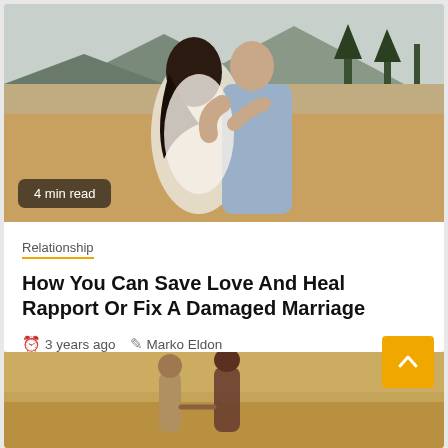[Figure (photo): A couple embracing outdoors in a field with mountains in the background. The woman has dark curly hair and wears a white lace top; the man wears a blue shirt.]
4 min read
Relationship
How You Can Save Love And Heal Rapport Or Fix A Damaged Marriage
3 years ago   Marko Eldon
[Figure (photo): Two people holding hands walking through a golden wheat field, seen from behind.]